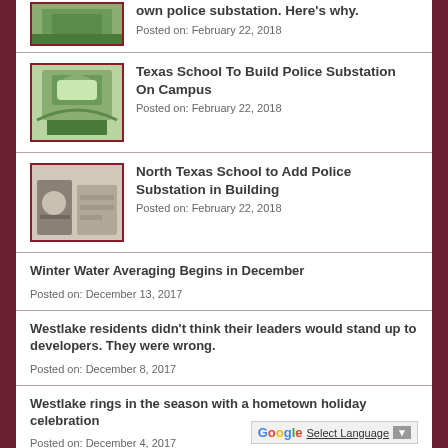own police substation. Here's why.
Posted on: February 22, 2018
Texas School To Build Police Substation On Campus
Posted on: February 22, 2018
North Texas School to Add Police Substation in Building
Posted on: February 22, 2018
Winter Water Averaging Begins in December
Posted on: December 13, 2017
Westlake residents didn’t think their leaders would stand up to developers. They were wrong.
Posted on: December 8, 2017
Westlake rings in the season with a hometown holiday celebration
Posted on: December 4, 2017